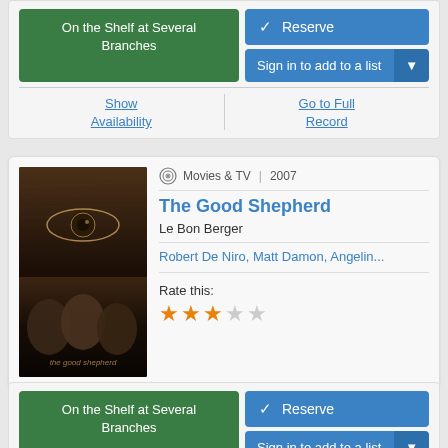On the Shelf at Several Branches
Reserve
Sign in to add to a list
Show Availability
Go to Full Record
[Figure (illustration): Movie cover for 'The Good Shepherd' showing dark atmospheric faces and an eye]
Movies & TV | 2007
The Good Shepherd
Le Bon Berger
Robert De Niro, Matt Damon, Angelin...
Rate this:
★ ★ ★ ☆ ☆
On the Shelf at Several Branches
Reserve
Sign in to add to a list
Show Availability
Go to Full Record